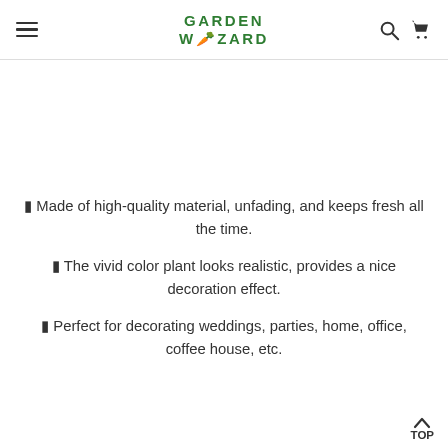GARDEN WIZARD
✦ Made of high-quality material, unfading, and keeps fresh all the time.
✦ The vivid color plant looks realistic, provides a nice decoration effect.
✦ Perfect for decorating weddings, parties, home, office, coffee house, etc.